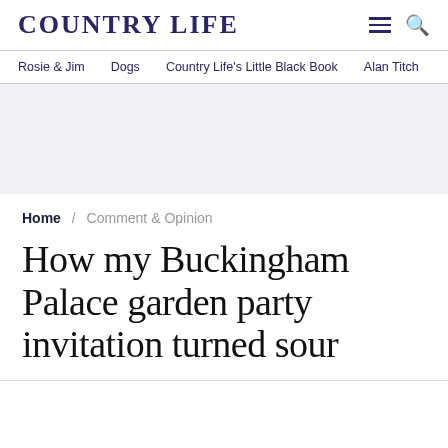COUNTRY LIFE
Rosie & Jim   Dogs   Country Life's Little Black Book   Alan Titch
[Figure (other): Advertisement banner placeholder, light grey background]
Home / Comment & Opinion
How my Buckingham Palace garden party invitation turned sour